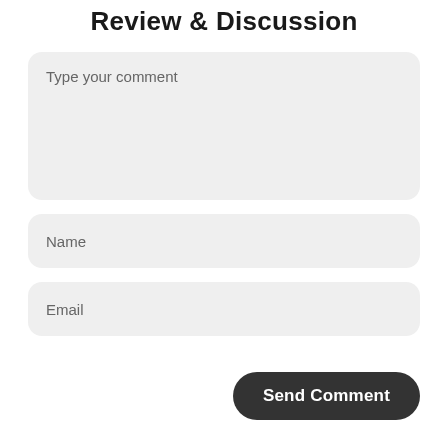Review & Discussion
Type your comment
Name
Email
Send Comment